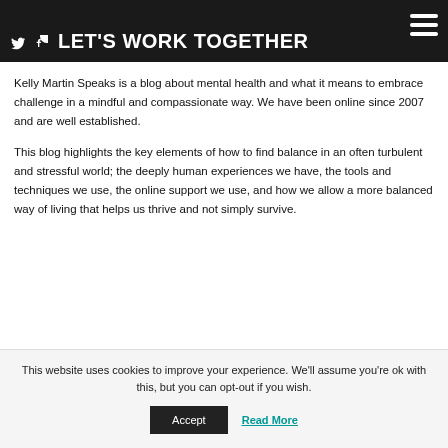LET'S WORK TOGETHER
Kelly Martin Speaks is a blog about mental health and what it means to embrace challenge in a mindful and compassionate way. We have been online since 2007 and are well established.
This blog highlights the key elements of how to find balance in an often turbulent and stressful world; the deeply human experiences we have, the tools and techniques we use, the online support we use, and how we allow a more balanced way of living that helps us thrive and not simply survive.
This website uses cookies to improve your experience. We'll assume you're ok with this, but you can opt-out if you wish. Accept Read More